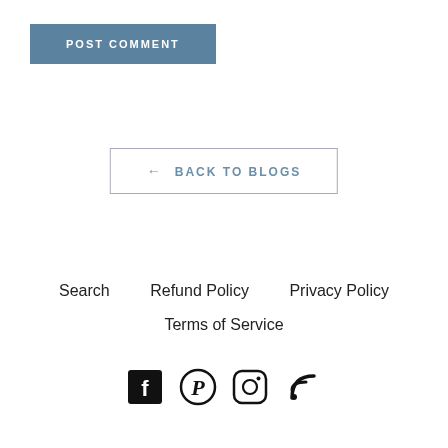POST COMMENT
← BACK TO BLOGS
Search   Refund Policy   Privacy Policy
Terms of Service
[Figure (infographic): Social media icons: Facebook, Pinterest, Instagram, RSS feed]